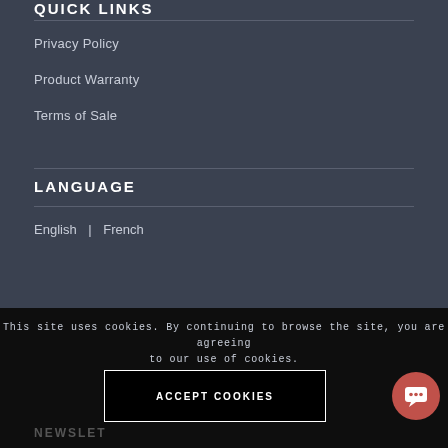QUICK LINKS
Privacy Policy
Product Warranty
Terms of Sale
LANGUAGE
English  |  French
This site uses cookies. By continuing to browse the site, you are agreeing to our use of cookies.
ACCEPT COOKIES
NEWSLET